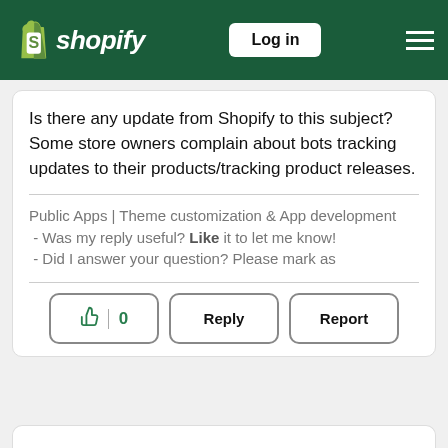Shopify — Log in
Is there any update from Shopify to this subject? Some store owners complain about bots tracking updates to their products/tracking product releases.
Public Apps | Theme customization & App development
 - Was my reply useful? Like it to let me know!
 - Did I answer your question? Please mark as